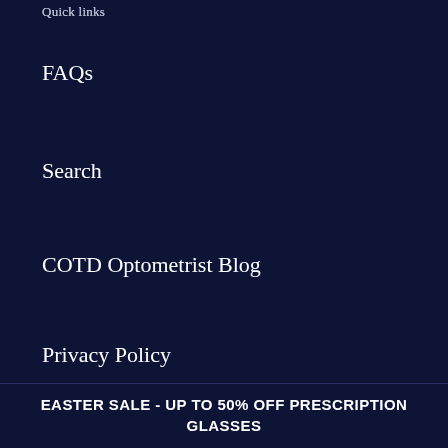Quick links
FAQs
Search
COTD Optometrist Blog
Privacy Policy
Refund Policy
Terms and Conditions
Contact us (partial)
EASTER SALE - UP TO 50% OFF PRESCRIPTION GLASSES